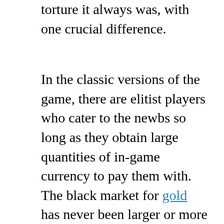torture it always was, with one crucial difference.
In the classic versions of the game, there are elitist players who cater to the newbs so long as they obtain large quantities of in-game currency to pay them with. The black market for gold has never been larger or more vibrant than it is in World of Warcraft Classic. You are constantly barraged with offers (WTS) to lead you through dungeons on the public text channels. Just have a fat purse for them to loot in the process and you are good to go. Raids remain the domain of guilds and elites that come prepared to join the few pick-up groups that do manage to be created in the hobbled universe that was World of Warcraft and Burning